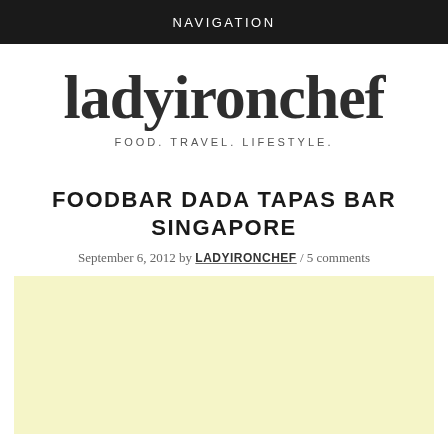NAVIGATION
ladyironchef
FOOD. TRAVEL. LIFESTYLE.
FOODBAR DADA TAPAS BAR SINGAPORE
September 6, 2012 by LADYIRONCHEF / 5 comments
[Figure (other): Yellow/cream colored advertisement placeholder block]